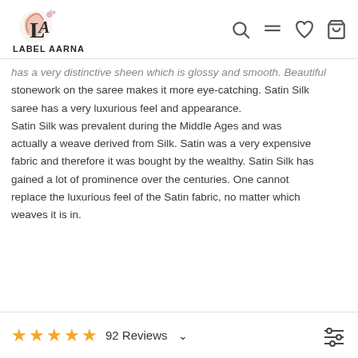LABEL AARNA — nav icons: search, menu, wishlist, cart
has a very distinctive sheen which is glossy and smooth. Beautiful stonework on the saree makes it more eye-catching. Satin Silk saree has a very luxurious feel and appearance.
Satin Silk was prevalent during the Middle Ages and was actually a weave derived from Silk. Satin was a very expensive fabric and therefore it was bought by the wealthy. Satin Silk has gained a lot of prominence over the centuries. One cannot replace the luxurious feel of the Satin fabric, no matter which weaves it is in.
92 Reviews